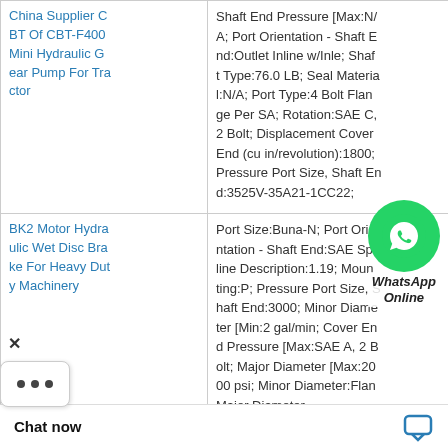| Product | Specifications |
| --- | --- |
| China Supplier CBT Of CBT-F400 Mini Hydraulic Gear Pump For Tractor | Shaft End Pressure [Max:N/A; Port Orientation - Shaft End:Outlet Inline w/Inle; Shaft Type:76.0 LB; Seal Material:N/A; Port Type:4 Bolt Flange Per SA; Rotation:SAE C, 2 Bolt; Displacement Cover End (cu in/revolution):1800; Pressure Port Size, Shaft End:3525V-35A21-1CC22; |
| BK2 Motor Hydraulic Wet Disc Brake For Heavy Duty Machinery | Port Size:Buna-N; Port Orientation - Shaft End:SAE Spline Description:1.19; Mounting:P; Pressure Port Size, Shaft End:3000; Minor Diameter [Min:2 gal/min; Cover End Pressure [Max:SAE A, 2 Bolt; Major Diameter [Max:2000 psi; Minor Diameter:Flan Major Diameter Pump Series:V10; |
[Figure (logo): WhatsApp Online button overlay with green circle phone icon and italic bold text 'WhatsApp Online']
[Figure (other): Chat now bar at bottom with bold text 'Chat now' and blue speech bubble icon]
[Figure (other): Close X button and three-dots menu overlay on left side]